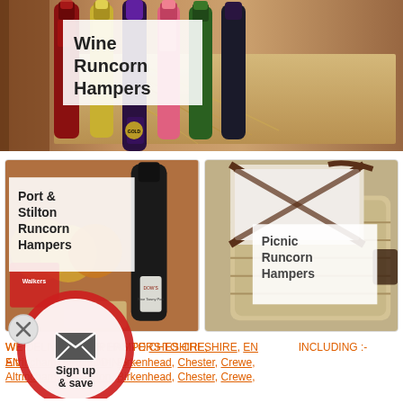[Figure (photo): Wine hamper photo showing multiple wine bottles in a wooden crate with straw, with a white label overlay reading 'Wine Runcorn Hampers']
[Figure (photo): Port and Stilton hamper photo showing port wine bottle and cheese/crackers, with a white label overlay reading 'Port & Stilton Runcorn Hampers']
[Figure (photo): Picnic hamper photo showing wicker picnic basket, with a white label overlay reading 'Picnic Runcorn Hampers']
[Figure (infographic): Sign up & save circular red popup with envelope icon and X close button]
WE DELIVER HAMPERS TO CHESHIRE, ENGLAND INCLUDING :- Altrincham, Bebington, Birkenhead, Chester, Crewe,